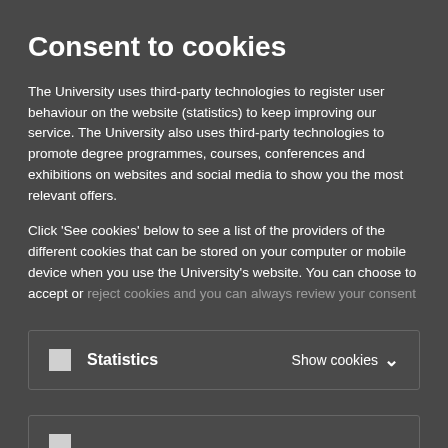Consent to cookies
The University uses third-party technologies to register user behaviour on the website (statistics) to keep improving our service. The University also uses third-party technologies to promote degree programmes, courses, conferences and exhibitions on websites and social media to show you the most relevant offers.
Click 'See cookies' below to see a list of the providers of the different cookies that can be stored on your computer or mobile device when you use the University's website. You can choose to accept or reject cookies and you can always review your consent later.
Statistics   Show cookies